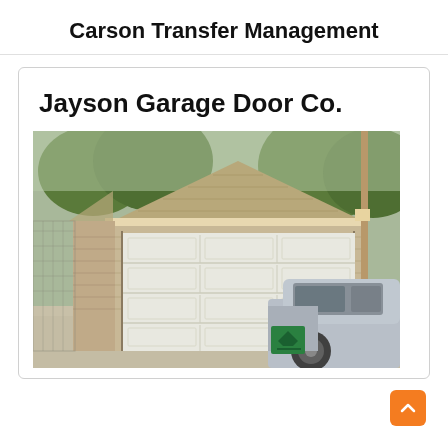Carson Transfer Management
Jayson Garage Door Co.
[Figure (photo): A beige/tan garage with a white double-wide garage door, a silver pickup truck parked in front, green trees visible in the background, and a green logo partially visible on the truck bed. A wooden utility pole is visible on the right side.]